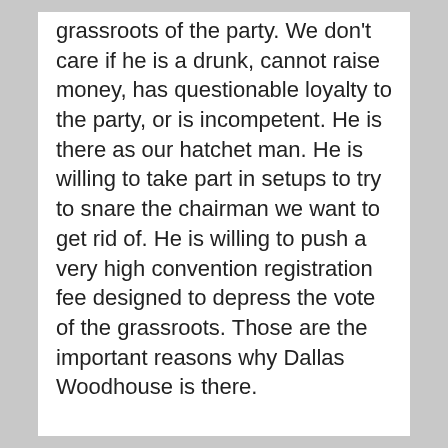grassroots of the party. We don't care if he is a drunk, cannot raise money, has questionable loyalty to the party, or is incompetent. He is there as our hatchet man. He is willing to take part in setups to try to snare the chairman we want to get rid of. He is willing to push a very high convention registration fee designed to depress the vote of the grassroots. Those are the important reasons why Dallas Woodhouse is there.
This is not about winning elections against the Democrats. It is all about those who should have control of the party getting it back from the riff-raff.